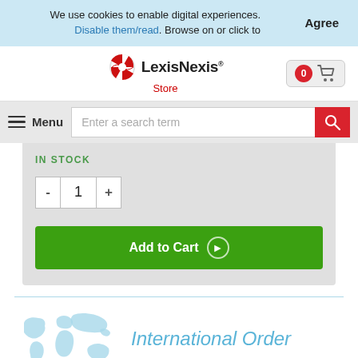We use cookies to enable digital experiences. Disable them/read. Browse on or click to
Agree
[Figure (logo): LexisNexis Store logo with red globe icon]
[Figure (other): Shopping cart icon with 0 badge]
Menu
Enter a search term
IN STOCK
1
Add to Cart
[Figure (illustration): Light blue world map illustration]
International Order